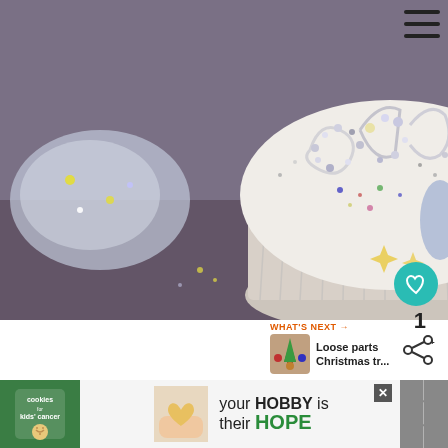[Figure (photo): Close-up photo of a cupcake decorated with silver and multicolor glitter/beads spelling or forming a design, sitting in a white cupcake liner, with bags of glitter in the background on a craft table]
We added more frost to the roofs of the houses, glittering all the way
[Figure (photo): WHAT'S NEXT thumbnail: small image of a Christmas tree craft project made from loose parts]
WHAT'S NEXT → Loose parts Christmas tr...
[Figure (screenshot): Advertisement banner: cookies for kids' cancer, your HOBBY is their HOPE, with image of heart-shaped cookie]